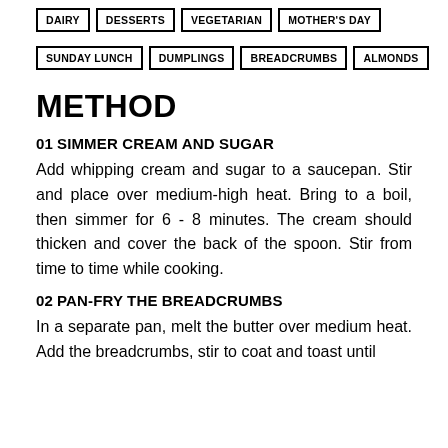DAIRY
DESSERTS
VEGETARIAN
MOTHER'S DAY
SUNDAY LUNCH
DUMPLINGS
BREADCRUMBS
ALMONDS
METHOD
01 SIMMER CREAM AND SUGAR
Add whipping cream and sugar to a saucepan. Stir and place over medium-high heat. Bring to a boil, then simmer for 6 - 8 minutes. The cream should thicken and cover the back of the spoon. Stir from time to time while cooking.
02 PAN-FRY THE BREADCRUMBS
In a separate pan, melt the butter over medium heat. Add the breadcrumbs, stir to coat and toast until...